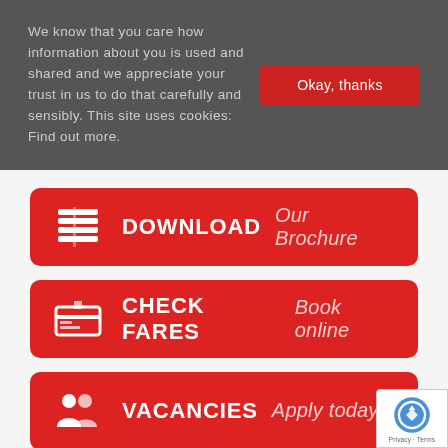We know that you care how information about you is used and shared and we appreciate your trust in us to do that carefully and sensibly. This site uses cookies: Find out more.
Okay, thanks
DOWNLOAD  Our Brochure
CHECK FARES  Book online
VACANCIES  Apply today